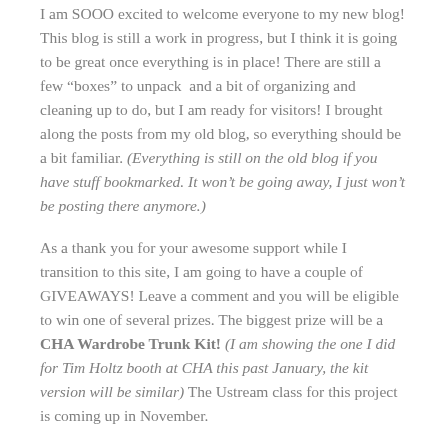I am SOOO excited to welcome everyone to my new blog! This blog is still a work in progress, but I think it is going to be great once everything is in place! There are still a few “boxes” to unpack  and a bit of organizing and cleaning up to do, but I am ready for visitors! I brought along the posts from my old blog, so everything should be a bit familiar. (Everything is still on the old blog if you have stuff bookmarked. It won’t be going away, I just won’t be posting there anymore.)
As a thank you for your awesome support while I transition to this site, I am going to have a couple of GIVEAWAYS! Leave a comment and you will be eligible to win one of several prizes. The biggest prize will be a CHA Wardrobe Trunk Kit! (I am showing the one I did for Tim Holtz booth at CHA this past January, the kit version will be similar) The Ustream class for this project is coming up in November.